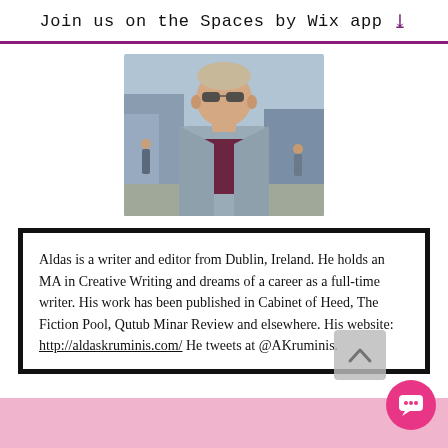Join us on the Spaces by Wix app
[Figure (photo): Portrait photo of a young man with sunglasses, wearing a grey jacket over a dark maroon polo shirt, standing outdoors in an urban setting]
Aldas is a writer and editor from Dublin, Ireland. He holds an MA in Creative Writing and dreams of a career as a full-time writer. His work has been published in Cabinet of Heed, The Fiction Pool, Qutub Minar Review and elsewhere. His website: http://aldaskruminis.com/ He tweets at @AKruminis.